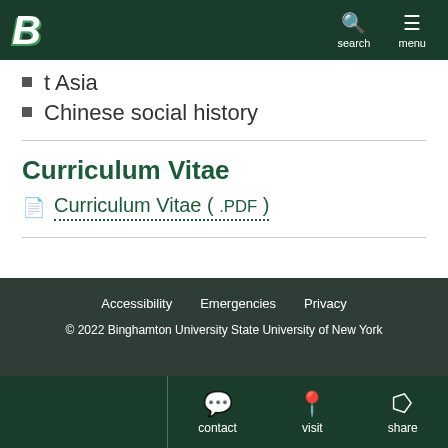Binghamton University - B logo, search, menu
t Asia
Chinese social history
Curriculum Vitae
Curriculum Vitae ( .PDF )
Accessibility   Emergencies   Privacy
© 2022 Binghamton University State University of New York
contact   visit   share